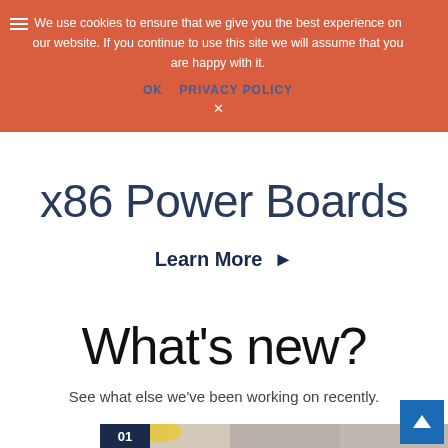We use cookies to ensure that we give you the best experience on our website. If you continue to use this site we will assume that you are happy with it.
OK  PRIVACY POLICY
x86 Power Boards
Learn More ▶
What's new?
See what else we've been working on recently.
[Figure (photo): Industrial workers in a warehouse setting, one wearing a yellow hard hat. Number badge '01' visible in bottom left corner.]